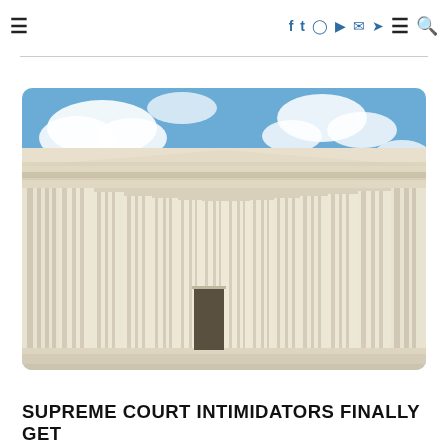≡  f  t  🔷  ▶  ✉  ➤  ≡  🔍
[Figure (photo): Upward-angle photograph of the United States Supreme Court building facade, showing tall white marble Corinthian columns against a blue sky with white clouds.]
SUPREME COURT INTIMIDATORS FINALLY GET